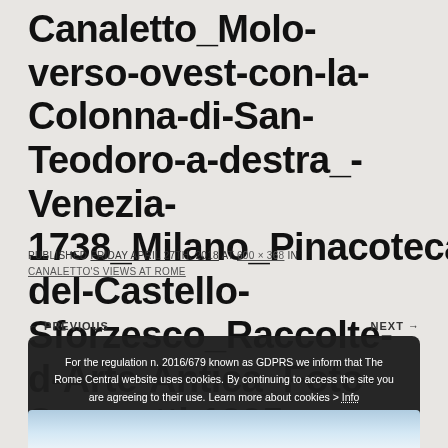Canaletto_Molo-verso-ovest-con-la-Colonna-di-San-Teodoro-a-destra_-Venezia-1738_Milano_Pinacoteca-del-Castello-Sforzesco_Raccolte-d-Arte-Antica_Foto-Saporetti-1995
PUBLISHED FRIDAY APRIL 27TH, 2018 AT 600 × 368 IN CANALETTO'S VIEWS AT ROME
← PREVIOUS    NEXT →
For the regulation n. 2016/679 known as GDPRS we inform that The Rome Central website uses cookies. By continuing to access the site you are agreeing to their use. Learn more about cookies > Info
Accept